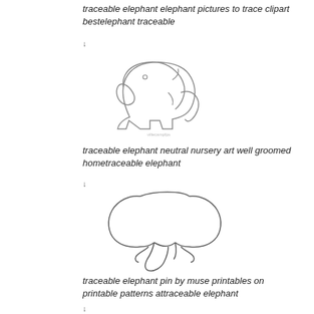traceable elephant elephant pictures to trace clipart bestelephant traceable
↓
[Figure (illustration): Simple outline drawing of an elephant facing right, with small circular eye, trunk down, and tusks visible. Watermark text at bottom.]
traceable elephant neutral nursery art well groomed hometraceable elephant
↓
[Figure (illustration): Simple outline drawing of an elephant head/face viewed from front, showing large ears, trunk curling down with two small tusk curves.]
traceable elephant pin by muse printables on printable patterns attraceable elephant
↓